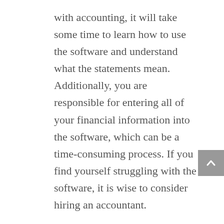with accounting, it will take some time to learn how to use the software and understand what the statements mean. Additionally, you are responsible for entering all of your financial information into the software, which can be a time-consuming process. If you find yourself struggling with the software, it is wise to consider hiring an accountant.
In conclusion, both hiring an accountant and using accounting software have their own pros and cons. It is important to weigh the pros and cons of each option before making a decision. If you use accounting software, make sure that the software is easy to learn